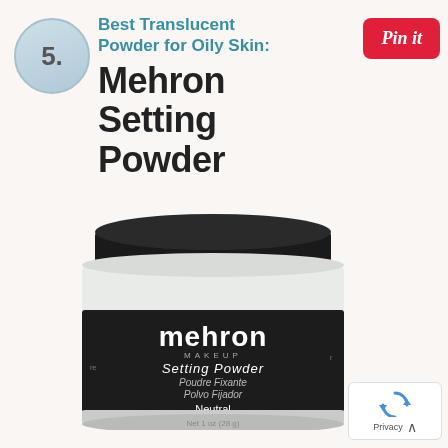5.
Best Translucent Powder for Oily Skin: Mehron Setting Powder
[Figure (logo): Red Pinterest 'Pin it' button]
[Figure (photo): Mehron Makeup Setting Powder jar, Neutral shade, Net 1 oz (28g), with black lid and black label showing text in English, French and Spanish]
[Figure (other): Privacy badge with recaptcha icon and expand arrow]